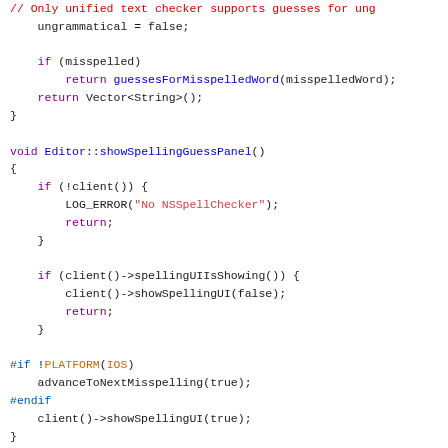[Figure (screenshot): Source code screenshot showing C++ code with syntax highlighting. Contains functions showSpellingGuessPanel and spellingPanelIsShowing with colored keywords, strings, and preprocessor directives.]